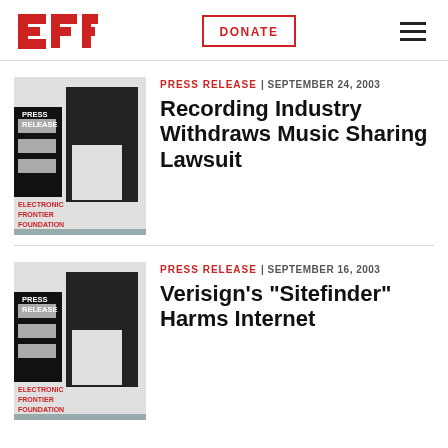EFF | DONATE
[Figure (logo): EFF Press Release thumbnail image with black and gray blocks, red text reading PRESS RELEASE ELECTRONIC FRONTIER FOUNDATION]
PRESS RELEASE | SEPTEMBER 24, 2003
Recording Industry Withdraws Music Sharing Lawsuit
[Figure (logo): EFF Press Release thumbnail image with black and gray blocks, red text reading PRESS RELEASE ELECTRONIC FRONTIER FOUNDATION]
PRESS RELEASE | SEPTEMBER 16, 2003
Verisign's "Sitefinder" Harms Internet